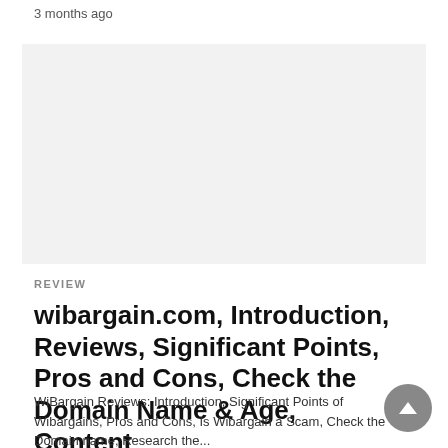3 months ago
[Figure (other): Large light gray advertisement placeholder rectangle]
REVIEW
wibargain.com, Introduction, Reviews, Significant Points, Pros and Cons, Check the Domain Name & Age, Content
WiBargain Reviews: Introduction, Significant Points of Wibargains, Pros and Cons, Is Wibargain a Scam, Check the Domain name, Research the...